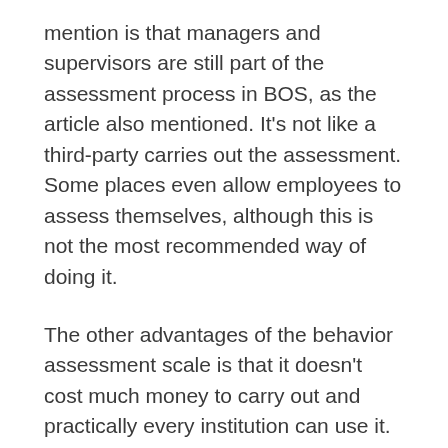mention is that managers and supervisors are still part of the assessment process in BOS, as the article also mentioned. It's not like a third-party carries out the assessment. Some places even allow employees to assess themselves, although this is not the most recommended way of doing it.
The other advantages of the behavior assessment scale is that it doesn't cost much money to carry out and practically every institution can use it. It's also very objective because employees are ranked based on each other's performance. So employees don't "fail" or "pass," they're just compared to one another.